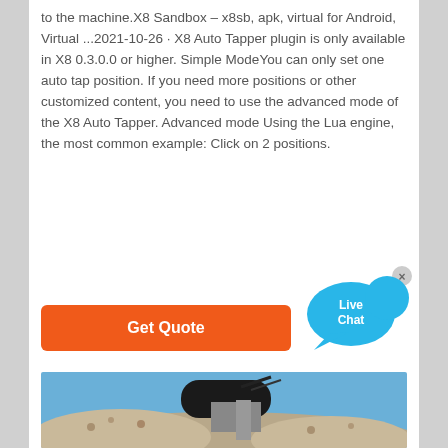to the machine.X8 Sandbox – x8sb, apk, virtual for Android, Virtual ...2021-10-26 · X8 Auto Tapper plugin is only available in X8 0.3.0.0 or higher. Simple ModeYou can only set one auto tap position. If you need more positions or other customized content, you need to use the advanced mode of the X8 Auto Tapper. Advanced mode Using the Lua engine, the most common example: Click on 2 positions.
[Figure (other): Live Chat bubble widget in blue with chat icon and close X button]
[Figure (other): Orange 'Get Quote' button]
[Figure (photo): Industrial conveyor belt machinery handling crushed stone/gravel against a blue sky]